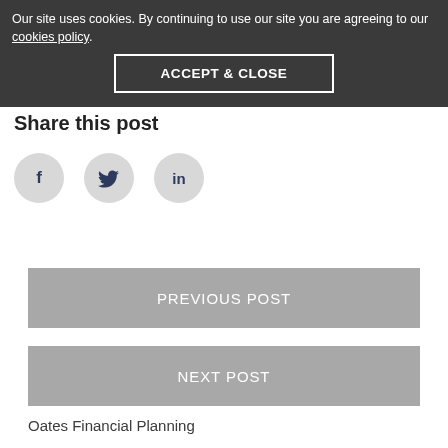Our site uses cookies. By continuing to use our site you are agreeing to our cookies policy.
ACCEPT & CLOSE
Share this post
[Figure (illustration): Three social media share buttons: Facebook (f), Twitter (bird), LinkedIn (in), each in a light grey circle]
PREVIOUS POST
NEXT POST
Oates Financial Planning